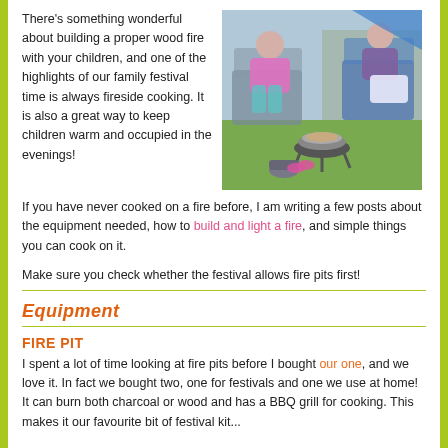There's something wonderful about building a proper wood fire with your children, and one of the highlights of our family festival time is always fireside cooking. It is also a great way to keep children warm and occupied in the evenings!
[Figure (photo): Two girls sitting in camping chairs outdoors near a fire pit on grass]
If you have never cooked on a fire before, I am writing a few posts about the equipment needed, how to build and light a fire, and simple things you can cook on it.
Make sure you check whether the festival allows fire pits first!
Equipment
FIRE PIT
I spent a lot of time looking at fire pits before I bought our one, and we love it. In fact we bought two, one for festivals and one we use at home! It can burn both charcoal or wood and has a BBQ grill for cooking. This makes it our favourite bit of festival kit...